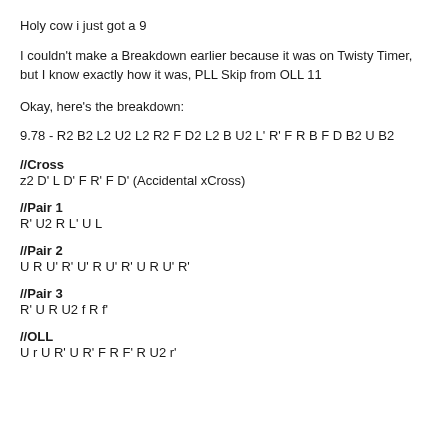Holy cow i just got a 9
I couldn't make a Breakdown earlier because it was on Twisty Timer, but I know exactly how it was, PLL Skip from OLL 11
Okay, here's the breakdown:
9.78 - R2 B2 L2 U2 L2 R2 F D2 L2 B U2 L' R' F R B F D B2 U B2
//Cross
z2 D' L D' F R' F D' (Accidental xCross)
//Pair 1
R' U2 R L' U L
//Pair 2
U R U' R' U' R U' R' U R U' R'
//Pair 3
R' U R U2 f R f'
//OLL
U r U R' U R' F R F' R U2 r'